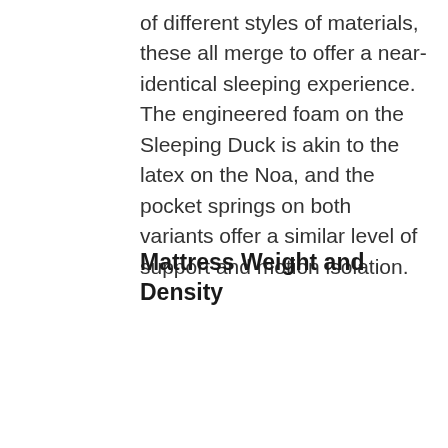of different styles of materials, these all merge to offer a near-identical sleeping experience. The engineered foam on the Sleeping Duck is akin to the latex on the Noa, and the pocket springs on both variants offer a similar level of support and motion isolation.
Mattress Weight and Density